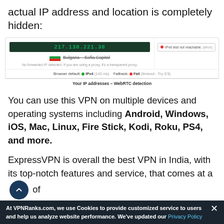actual IP address and location is completely hidden:
[Figure (screenshot): Screenshot of IP address check tool showing Bulgarian IP address 217.138.221.38, Sofia Capital location, IPv6 not reachable, Browser default IPv4 green, Fallback Fail red, Your IP addresses - WebRTC detection label]
You can use this VPN on multiple devices and operating systems including Android, Windows, iOS, Mac, Linux, Fire Stick, Kodi, Roku, PS4, and more.
ExpressVPN is overall the best VPN in India, with its top-notch features and service, that comes at a [price] of
At VPNRanks.com, we use Cookies to provide customized service to users and help us analyze website performance. We've updated our Privacy Policy